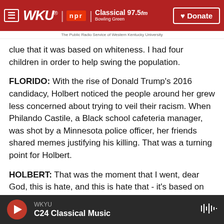WKU | npr | Classical 97.5 fm Bowling Green — The Public Radio Service of Western Kentucky University | Donate
clue that it was based on whiteness. I had four children in order to help swing the population.
FLORIDO: With the rise of Donald Trump's 2016 candidacy, Holbert noticed the people around her grew less concerned about trying to veil their racism. When Philando Castile, a Black school cafeteria manager, was shot by a Minnesota police officer, her friends shared memes justifying his killing. That was a turning point for Holbert.
HOLBERT: That was the moment that I went, dear God, this is hate, and this is hate that - it's based on
WKYU | C24 Classical Music